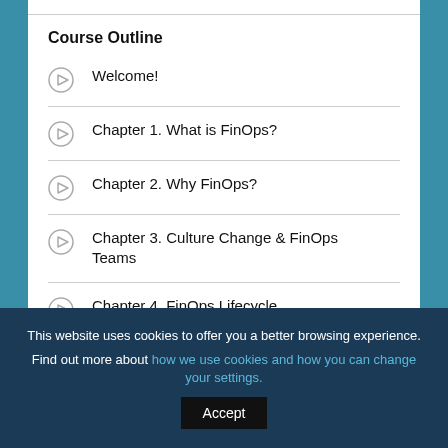Course Outline
Welcome!
Chapter 1. What is FinOps?
Chapter 2. Why FinOps?
Chapter 3. Culture Change & FinOps Teams
Chapter 4. FinOps Lifecycle
This website uses cookies to offer you a better browsing experience. Find out more about how we use cookies and how you can change your settings.